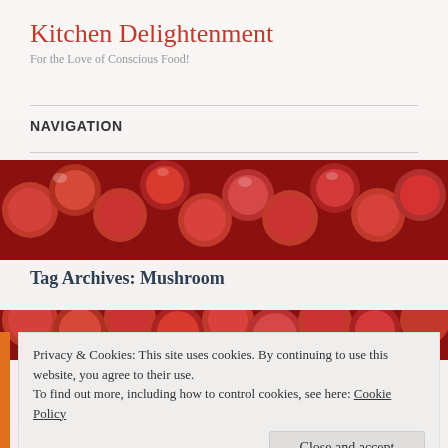Kitchen Delightenment
For the Love of Conscious Food!
NAVIGATION
[Figure (photo): Close-up photo of red berries/cranberries filling the frame]
Tag Archives: Mushroom
[Figure (photo): Close-up photo of red berries/cranberries, partial view at bottom section]
Privacy & Cookies: This site uses cookies. By continuing to use this website, you agree to their use.
To find out more, including how to control cookies, see here: Cookie Policy
Close and accept
Posted on December 3, 2013